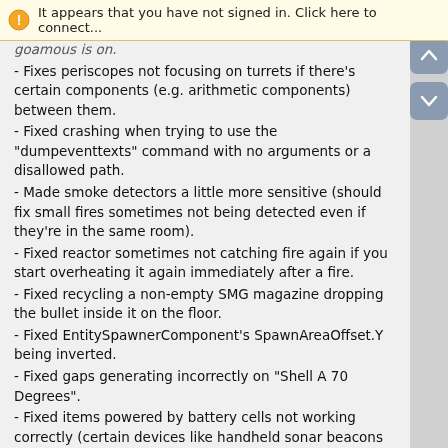It appears that you have not signed in. Click here to connect...
goamous is on.
- Fixes periscopes not focusing on turrets if there's certain components (e.g. arithmetic components) between them.
- Fixed crashing when trying to use the "dumpeventtexts" command with no arguments or a disallowed path.
- Made smoke detectors a little more sensitive (should fix small fires sometimes not being detected even if they're in the same room).
- Fixed reactor sometimes not catching fire again if you start overheating it again immediately after a fire.
- Fixed recycling a non-empty SMG magazine dropping the bullet inside it on the floor.
- Fixed EntitySpawnerComponent's SpawnAreaOffset.Y being inverted.
- Fixed gaps generating incorrectly on "Shell A 70 Degrees".
- Fixed items powered by battery cells not working correctly (certain devices like handheld sonar beacons never powering up, and items staying powered indefinitely when you put in a battery and take it out). Unstable only.
- Fixed turret lights starting in an incorrect rotation in the sub editor.
- Fixed "commander" talent still not correctly giving the buff